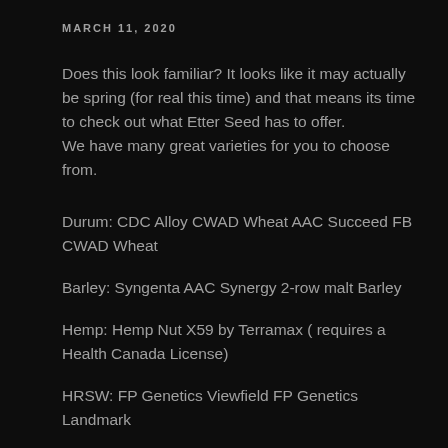MARCH 11, 2020
Does this look familiar? It looks like it may actually be spring (for real this time) and that means its time to check out what Etter Seed has to offer.
We have many great varieties for you to choose from.
Durum: CDC Alloy CWAD Wheat AAC Succeed FB CWAD Wheat
Barley: Syngenta AAC Synergy 2-row malt Barley
Hemp: Hemp Nut X59 by Terramax ( requires a Health Canada License)
HRSW: FP Genetics Viewfield FP Genetics Landmark
Rye: KWS Bono Rye